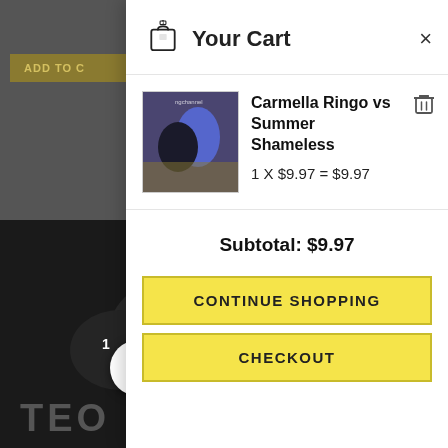[Figure (screenshot): Left portion of a website with dark background, an 'ADD TO CART' button visible at top, a 'C Ex' text overlay, a dark photo visible, and a floating basket icon with badge '1' at bottom left]
Your Cart
[Figure (photo): Thumbnail image of two female wrestlers, one in blue and black outfit, grappling]
Carmella Ringo vs Summer Shameless
1 X $9.97 = $9.97
Subtotal: $9.97
CONTINUE SHOPPING
CHECKOUT